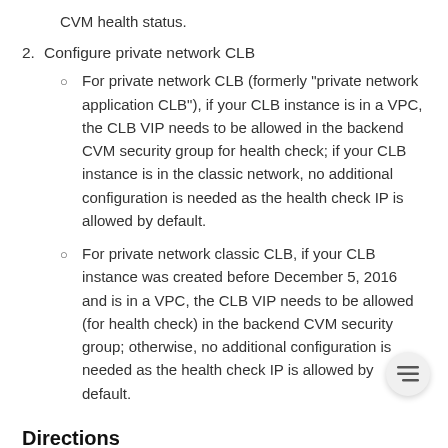CVM health status.
2. Configure private network CLB
For private network CLB (formerly "private network application CLB"), if your CLB instance is in a VPC, the CLB VIP needs to be allowed in the backend CVM security group for health check; if your CLB instance is in the classic network, no additional configuration is needed as the health check IP is allowed by default.
For private network classic CLB, if your CLB instance was created before December 5, 2016 and is in a VPC, the CLB VIP needs to be allowed (for health check) in the backend CVM security group; otherwise, no additional configuration is needed as the health check IP is allowed by default.
Directions
In the following example, the security group is configured only allow inbound traffic to the CLB from port 80, and the association rules in CVM port 8080. The picture limits on the